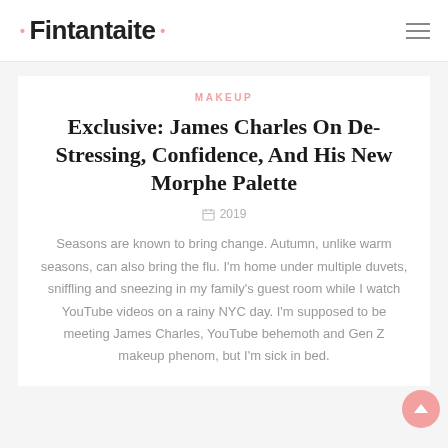• Fintantaite •
MAKEUP
Exclusive: James Charles On De-Stressing, Confidence, And His New Morphe Palette
2019
Seasons are known to bring change. Autumn, unlike warm seasons, can also bring the flu. I'm home under multiple duvets, sniffling and sneezing in my family's guest room while I watch YouTube videos on a rainy NYC day. I'm supposed to be meeting James Charles, YouTube behemoth and Gen Z makeup phenom, but I'm sick in bed.